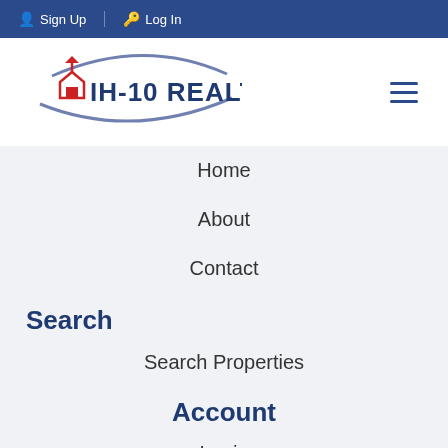Sign Up  Log In
[Figure (logo): IH-10 Realty logo with swoosh design and red house icon]
Home
About
Contact
Search
Search Properties
Account
Login